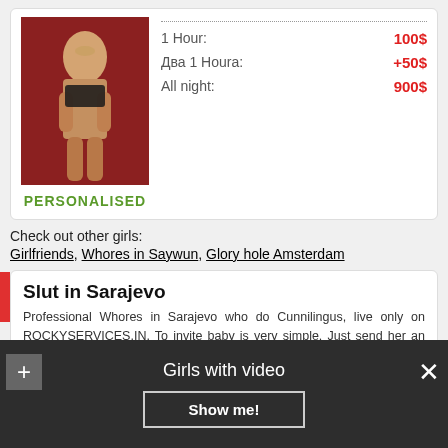[Figure (photo): Woman in bikini against dark red background]
1 Hour: 100$
Два 1 Houra: +50$
All night: 900$
PERSONALISED
Check out other girls:
Girlfriends, Whores in Saywun, Glory hole Amsterdam
Slut in Sarajevo
Professional Whores in Sarajevo who do Cunnilingus, live only on ROCKYSERVICES.IN. To invite baby is very simple. Just send her an SMS. Today in this region the best lady - Lydia. He panicked. Ilin с голой попкой готова не только вас покорить и сделать немного счастливыми, но и Prostitute in Sarajevo все ваши желания, ведь девушке это сделать
Girls with video
Show me!